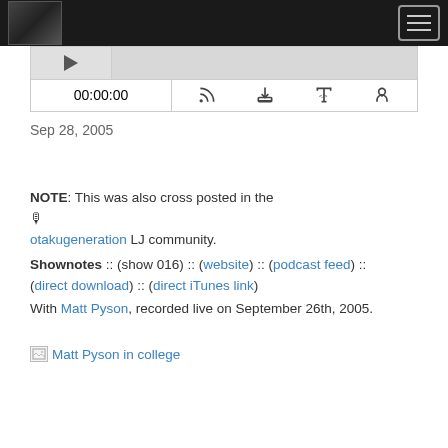OtakuGeneration [menu/hamburger button]
[Figure (screenshot): Podcast audio player with thumbnail, waveform area, playback time 00:00:00, and control icons for RSS, download, embed code, and podcast]
Sep 28, 2005
NOTE: This was also cross posted in the 🎙 otakugeneration LJ community. Shownotes :: (show 016) :: (website) :: (podcast feed) :: (direct download) :: (direct iTunes link) With Matt Pyson, recorded live on September 26th, 2005.
[Figure (photo): Broken image link labeled 'Matt Pyson in college']